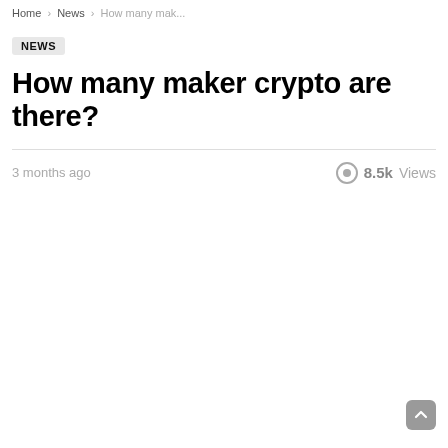Home > News > How many mak...
NEWS
How many maker crypto are there?
3 months ago  8.5k Views